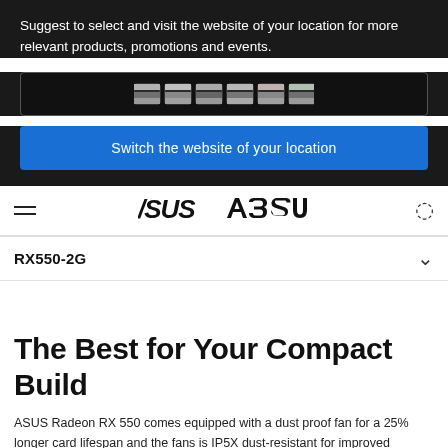Suggest to select and visit the website of your location for more relevant products, promotions and events.
[Figure (screenshot): Dropdown box with flag icons for country/region selection]
Switch the website of your location
[Figure (logo): ASUS logo in navigation bar]
RX550-2G
The Best for Your Compact Build
ASUS Radeon RX 550 comes equipped with a dust proof fan for a 25% longer card lifespan and the fans is IP5X dust-resistant for improved reliability. Industry-exclusive Auto-Extreme Technology with Super Alloy Power II components for superior stability. ASUS Radeon RX 550 also has GPU Tweak II with XSplit Gamecaster that provides intuitive performance...